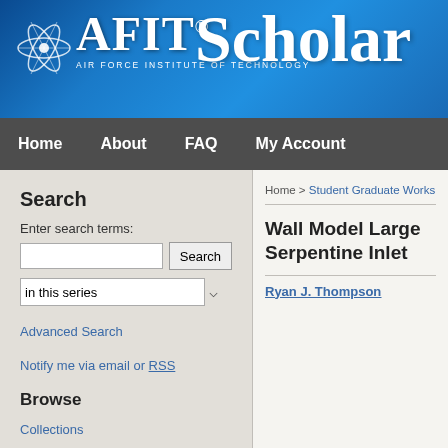[Figure (logo): AFIT Scholar - Air Force Institute of Technology logo on blue gradient sky background]
Home   About   FAQ   My Account
Search
Enter search terms:
in this series
Advanced Search
Notify me via email or RSS
Browse
Collections
Disciplines
Home > Student Graduate Works
Wall Model Large Serpentine Inlet
Ryan J. Thompson